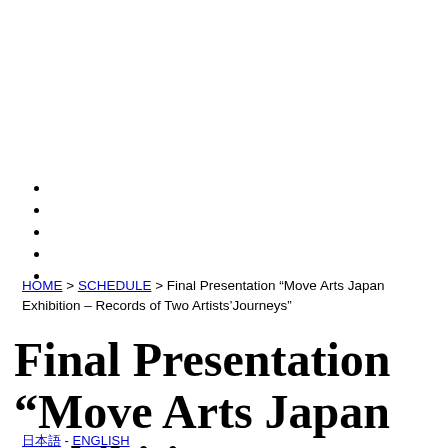日本語 - ENGLISH
HOME > SCHEDULE > Final Presentation “Move Arts Japan Exhibition – Records of Two Artists’Journeys”
Final Presentation “Move Arts Japan Exhibition – Records of Two Artists’Journeys”